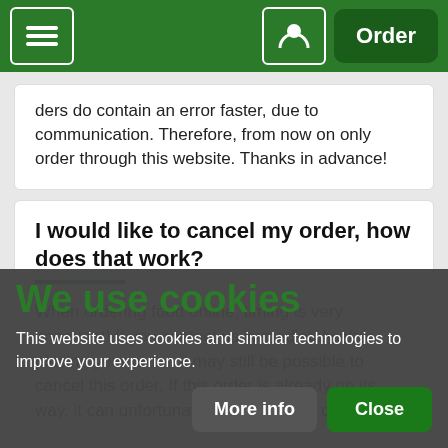Navigation bar with menu, user, and Order buttons
ders do contain an error faster, due to communication. Therefore, from now on only order through this website. Thanks in advance!
I would like to cancel my order, how does that work?
When ordering food online, timing is very important! If you contact us immediately after placing your order, it may still be possible to cancel this order. If this order is already on its way, it can unfortunately no longer be canceled.
We use cookies
This website uses cookies and simular technologies to improve your experience.
More info
Close